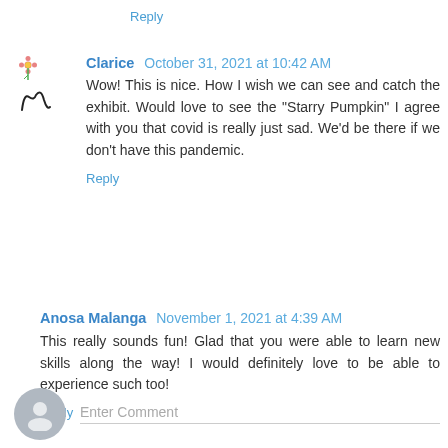Reply
Clarice  October 31, 2021 at 10:42 AM
Wow! This is nice. How I wish we can see and catch the exhibit. Would love to see the "Starry Pumpkin" I agree with you that covid is really just sad. We'd be there if we don't have this pandemic.
Reply
Anosa Malanga  November 1, 2021 at 4:39 AM
This really sounds fun! Glad that you were able to learn new skills along the way! I would definitely love to be able to experience such too!
Reply
Enter Comment